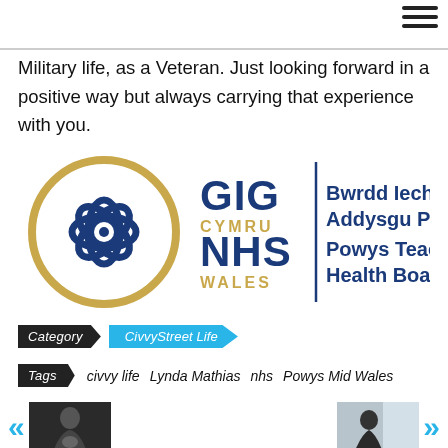Military life, as a Veteran. Just looking forward in a positive way but always carrying that experience with you.
[Figure (logo): GIG Cymru NHS Wales - Bwrdd Iechyd Addysgu Powys / Powys Teaching Health Board logo]
Category  CivvyStreet Life
Tags  civvy life  Lynda Mathias  nhs  Powys Mid Wales
[Figure (photo): Thumbnail photo of a person in dark clothing holding something, Forces Pension article]
Forces Pension
[Figure (photo): Thumbnail photo of a person at a desk, West Coast article]
West Coast